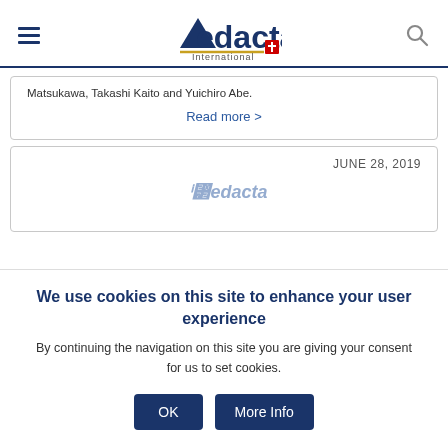Medacta International
Matsukawa, Takashi Kaito and Yuichiro Abe.
Read more >
JUNE 28, 2019
We use cookies on this site to enhance your user experience
By continuing the navigation on this site you are giving your consent for us to set cookies.
OK   More Info